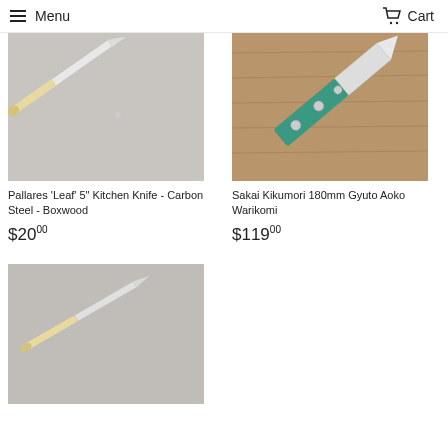Menu  Cart
[Figure (photo): Pallares Leaf kitchen knife with light-colored boxwood handle on grey background]
Pallares 'Leaf' 5" Kitchen Knife - Carbon Steel - Boxwood
$20.00
[Figure (photo): Sakai Kikumori 180mm Gyuto with green handle and silver rivets on wooden background]
Sakai Kikumori 180mm Gyuto Aoko Warikomi
$119.00
[Figure (photo): Another kitchen knife with light handle on grey background, partially visible]